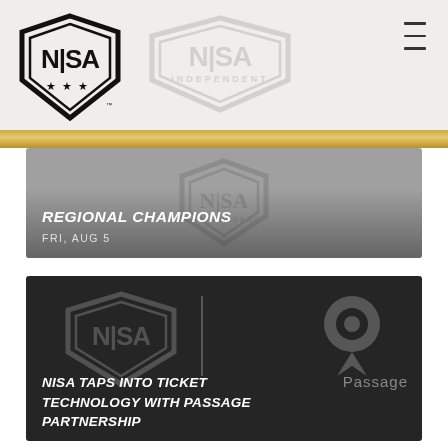NISA
[Figure (logo): NISA shield logo with N|SA text and three stars, black and white]
[Figure (logo): NISA Independent watermark logo in gray, faded background]
REGIONAL CHAMPIONS
FRI, AUG 5
[Figure (photo): Dark background with NISA logo and Passage logo side by side]
NISA TAPS INTO TICKET TECHNOLOGY WITH PASSAGE PARTNERSHIP